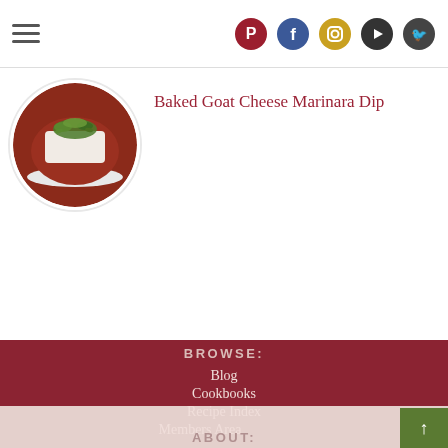Navigation header with hamburger menu and social icons (Pinterest, Facebook, Instagram, YouTube, Twitter)
[Figure (photo): Baked goat cheese marinara dip in a round white bowl, topped with fresh herbs, in a red tomato sauce]
Baked Goat Cheese Marinara Dip
BROWSE:
Blog
Cookbooks
Recipe Index
Members Area
ABOUT: